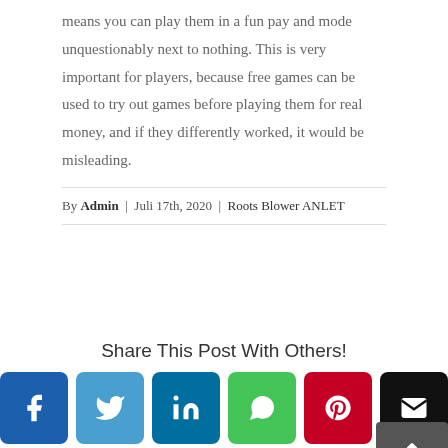means you can play them in a fun pay and mode unquestionably next to nothing. This is very important for players, because free games can be used to try out games before playing them for real money, and if they differently worked, it would be misleading.
By Admin | Juli 17th, 2020 | Roots Blower ANLET
Share This Post With Others!